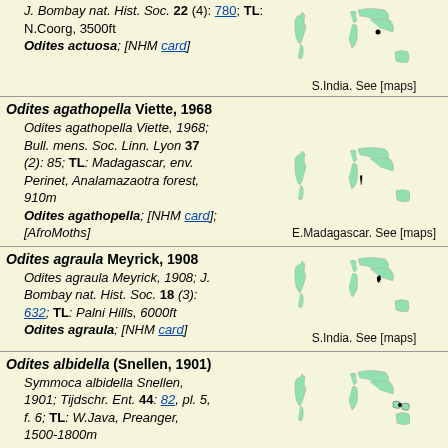J. Bombay nat. Hist. Soc. 22 (4): 780; TL: N.Coorg, 3500ft
Odites actuosa; [NHM card]
S.India. See [maps]
Odites agathopella Viette, 1968
Odites agathopella Viette, 1968; Bull. mens. Soc. Linn. Lyon 37 (2): 85; TL: Madagascar, env. Perinet, Analamazaotra forest, 910m
Odites agathopella; [NHM card]; [AfroMoths]
E.Madagascar. See [maps]
Odites agraula Meyrick, 1908
Odites agraula Meyrick, 1908; J. Bombay nat. Hist. Soc. 18 (3): 632; TL: Palni Hills, 6000ft
Odites agraula; [NHM card]
S.India. See [maps]
Odites albidella (Snellen, 1901)
Symmoca albidella Snellen, 1901; Tijdschr. Ent. 44: 82, pl. 5, f. 6; TL: W.Java, Preanger, 1500-1800m
Odites albidella; [NHM card]
W.Java. See [maps]
Odites analogica Meyrick, 1917
Odites analogica Meyrick, 1917; Exotic Microlen. 2
Comoro Is.